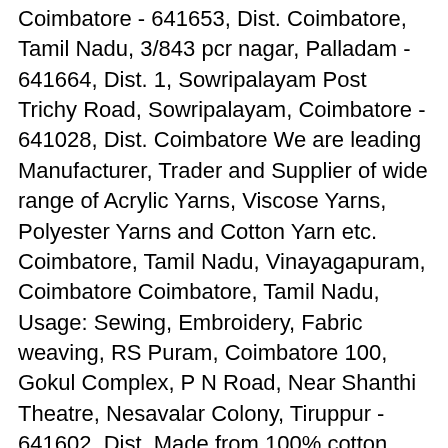Coimbatore - 641653, Dist. Coimbatore, Tamil Nadu, 3/843 pcr nagar, Palladam - 641664, Dist. 1, Sowripalayam Post Trichy Road, Sowripalayam, Coimbatore - 641028, Dist. Coimbatore We are leading Manufacturer, Trader and Supplier of wide range of Acrylic Yarns, Viscose Yarns, Polyester Yarns and Cotton Yarn etc. Coimbatore, Tamil Nadu, Vinayagapuram, Coimbatore Coimbatore, Tamil Nadu, Usage: Sewing, Embroidery, Fabric weaving, RS Puram, Coimbatore 100, Gokul Complex, P N Road, Near Shanthi Theatre, Nesavalar Colony, Tiruppur - 641602, Dist. Made from 100% cotton, our Cotton Weaving and Knitting Yarn has perfect finishing, high strength and are provided in different s more... We are engaged in the exporting and supplying of Cotton Slub Yarn that is available in various blends and count of cotton textile yarn, polyester yarn and viscose yarn. 33AWXPK8579M2ZA. To attain the maximum satisfaction of our clients, we are providing this product in, 100% Cotton & polyester-cotton yarn(65.35%) in the count range from 45 Ne to 100 Ne. Naveen Yarns And Fibers in tiruppur offers a diverse fabric manufacturer 3/843